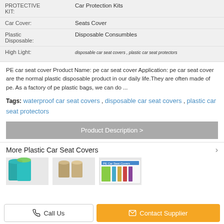| PROTECTIVE KIT: | Car Protection Kits |
| Car Cover: | Seats Cover |
| Plastic Disposable: | Disposable Consumbles |
| High Light: | disposable car seat covers , plastic car seat protectors |
PE car seat cover Product Name: pe car seat cover Application: pe car seat cover are the normal plastic disposable product in our daily life.They are often made of pe. As a factory of pe plastic bags, we can do ...
Tags: waterproof car seat covers , disposable car seat covers , plastic car seat protectors
Product Description >
More Plastic Car Seat Covers
[Figure (photo): Three product thumbnail images of plastic car seat covers]
Call Us
Contact Supplier